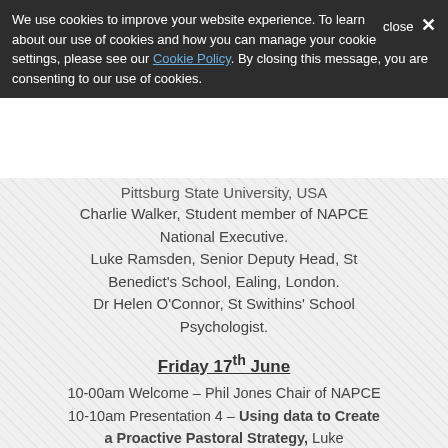We use cookies to improve your website experience. To learn about our use of cookies and how you can manage your cookie settings, please see our Cookie Policy. By closing this message, you are consenting to our use of cookies.
Pittsburg State University, USA
Charlie Walker, Student member of NAPCE National Executive.
Luke Ramsden, Senior Deputy Head, St Benedict's School, Ealing, London.
Dr Helen O'Connor, St Swithins' School Psychologist.
Friday 17th June
10-00am Welcome – Phil Jones Chair of NAPCE
10-10am Presentation 4 – Using data to Create a Proactive Pastoral Strategy, Luke Ramsden, Senior Deputy Head, St Benedict's School, Ealing, London